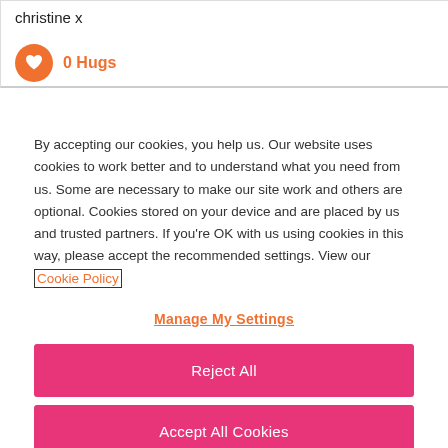christine x
[Figure (illustration): Orange circle with white heart icon and text '0 Hugs' in orange]
By accepting our cookies, you help us. Our website uses cookies to work better and to understand what you need from us. Some are necessary to make our site work and others are optional. Cookies stored on your device and are placed by us and trusted partners. If you're OK with us using cookies in this way, please accept the recommended settings. View our Cookie Policy
Manage My Settings
Reject All
Accept All Cookies